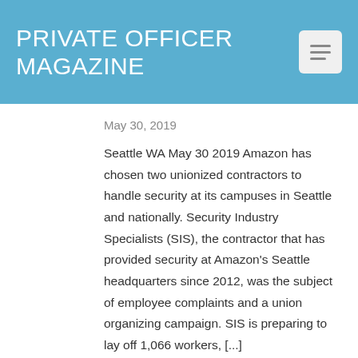PRIVATE OFFICER MAGAZINE
May 30, 2019
Seattle WA May 30 2019 Amazon has chosen two unionized contractors to handle security at its campuses in Seattle and nationally. Security Industry Specialists (SIS), the contractor that has provided security at Amazon's Seattle headquarters since 2012, was the subject of employee complaints and a union organizing campaign. SIS is preparing to lay off 1,066 workers, [...]
Arrest made in attempted rape